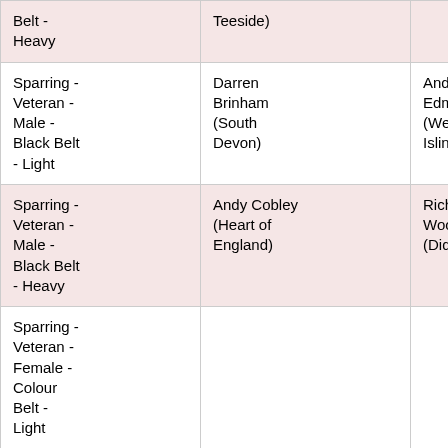| Category | Col2 | Col3 | Col4 | Col5 |
| --- | --- | --- | --- | --- |
| Belt - Heavy | Teeside) |  | Valley) | (TKD Wa... |
| Sparring - Veteran - Male - Black Belt - Light | Darren Brinham (South Devon) | Andrew Edmondson (West Islington) | Sandy Thomson (Merrylee) | Mike Ba... (Integrity Martial A... |
| Sparring - Veteran - Male - Black Belt - Heavy | Andy Cobley (Heart of England) | Richard Woolner (Didcot) | Richard Kendall (Caterham & Worthing) | Paul Ha... (Caterha... Worthing... |
| Sparring - Veteran - Female - Colour Belt - Light |  |  | Amanda Kilburn (Caterham & Worthing) | Tina Day... (Focus T... |
| Sparring - Veteran - Female - |  |  | Melanie | Jacqui M... (Caterha... |